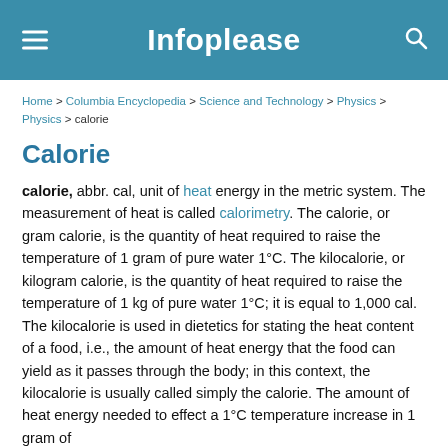Infoplease
Home > Columbia Encyclopedia > Science and Technology > Physics > Physics > calorie
Calorie
calorie, abbr. cal, unit of heat energy in the metric system. The measurement of heat is called calorimetry. The calorie, or gram calorie, is the quantity of heat required to raise the temperature of 1 gram of pure water 1°C. The kilocalorie, or kilogram calorie, is the quantity of heat required to raise the temperature of 1 kg of pure water 1°C; it is equal to 1,000 cal. The kilocalorie is used in dietetics for stating the heat content of a food, i.e., the amount of heat energy that the food can yield as it passes through the body; in this context, the kilocalorie is usually called simply the calorie. The amount of heat energy needed to effect a 1°C temperature increase in 1 gram of